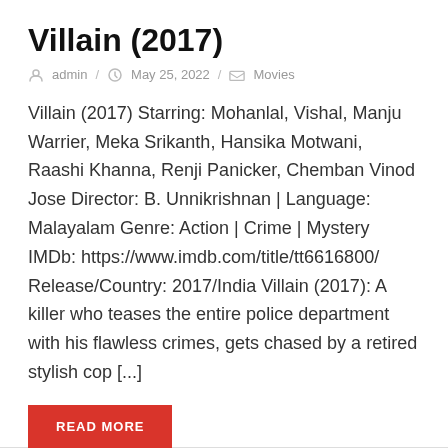Villain (2017)
admin / May 25, 2022 / Movies
Villain (2017) Starring: Mohanlal, Vishal, Manju Warrier, Meka Srikanth, Hansika Motwani, Raashi Khanna, Renji Panicker, Chemban Vinod Jose Director: B. Unnikrishnan | Language: Malayalam Genre: Action | Crime | Mystery IMDb: https://www.imdb.com/title/tt6616800/ Release/Country: 2017/India Villain (2017): A killer who teases the entire police department with his flawless crimes, gets chased by a retired stylish cop [...]
READ MORE